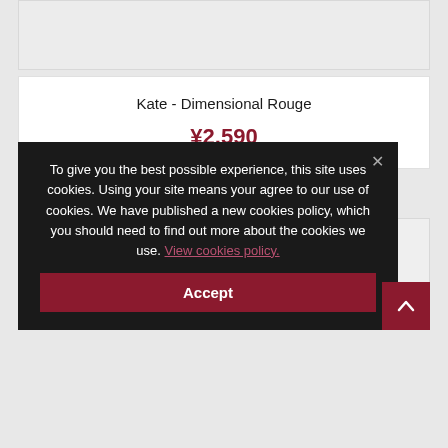[Figure (photo): Top product image area, light gray background placeholder]
Kate - Dimensional Rouge
¥2,590
[Figure (photo): Second product image area, light gray background placeholder]
To give you the best possible experience, this site uses cookies. Using your site means your agree to our use of cookies. We have published a new cookies policy, which you should need to find out more about the cookies we use. View cookies policy.
Accept